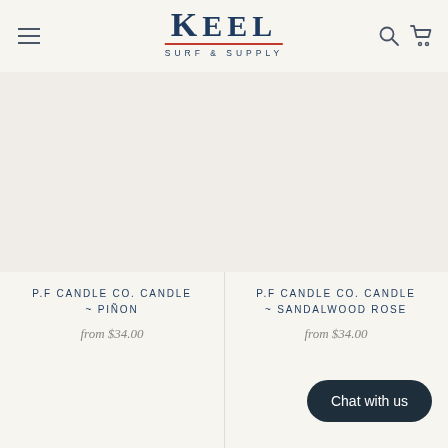Keel Surf & Supply — navigation header with logo, hamburger menu, search and cart icons
P.F CANDLE CO. CANDLE ~ PIÑON
from $34.00
P.F CANDLE CO. CANDLE ~ SANDALWOOD ROSE
from $34.00
Chat with us